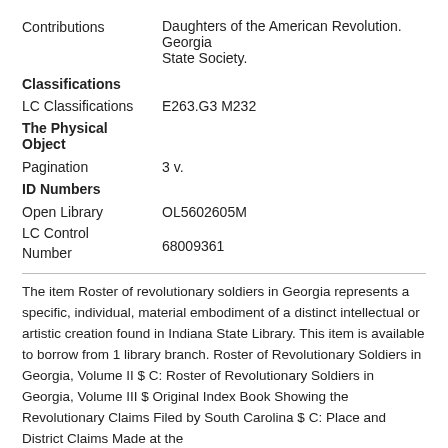Contributions   Daughters of the American Revolution. Georgia State Society.
Classifications
LC Classifications   E263.G3 M232
The Physical Object
Pagination   3 v.
ID Numbers
Open Library   OL5602605M
LC Control Number   68009361
The item Roster of revolutionary soldiers in Georgia represents a specific, individual, material embodiment of a distinct intellectual or artistic creation found in Indiana State Library. This item is available to borrow from 1 library branch. Roster of Revolutionary Soldiers in Georgia, Volume II $ C: Roster of Revolutionary Soldiers in Georgia, Volume III $ Original Index Book Showing the Revolutionary Claims Filed by South Carolina $ C: Place and District Claims Made at the